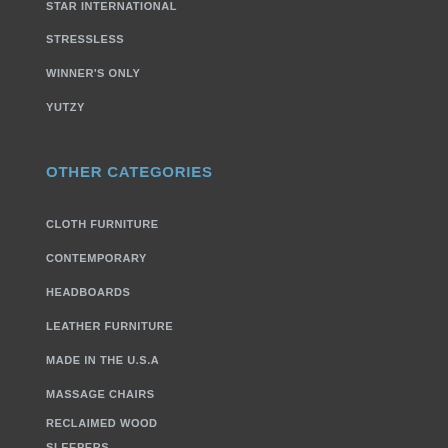STAR INTERNATIONAL
STRESSLESS
WINNER'S ONLY
YUTZY
OTHER CATEGORIES
CLOTH FURNITURE
CONTEMPORARY
HEADBOARDS
LEATHER FURNITURE
MADE IN THE U.S.A
MASSAGE CHAIRS
RECLAIMED WOOD
SLEEPERS